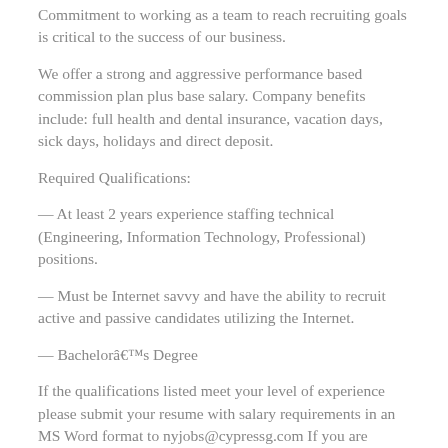Commitment to working as a team to reach recruiting goals is critical to the success of our business.
We offer a strong and aggressive performance based commission plan plus base salary. Company benefits include: full health and dental insurance, vacation days, sick days, holidays and direct deposit.
Required Qualifications:
— At least 2 years experience staffing technical (Engineering, Information Technology, Professional) positions.
— Must be Internet savvy and have the ability to recruit active and passive candidates utilizing the Internet.
— Bachelorâ€™s Degree
If the qualifications listed meet your level of experience please submit your resume with salary requirements in an MS Word format to nyjobs@cypressg.com If you are selected for an interview, you will be contacted directly.